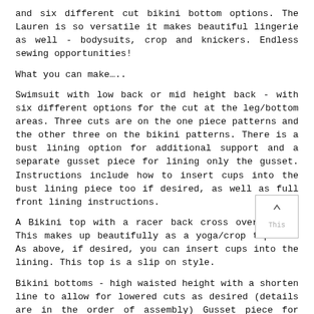and six different cut bikini bottom options. The Lauren is so versatile it makes beautiful lingerie as well - bodysuits, crop and knickers. Endless sewing opportunities!
What you can make…..
Swimsuit with low back or mid height back - with six different options for the cut at the leg/bottom areas. Three cuts are on the one piece patterns and the other three on the bikini patterns. There is a bust lining option for additional support and a separate gusset piece for lining only the gusset. Instructions include how to insert cups into the bust lining piece too if desired, as well as full front lining instructions.
A Bikini top with a racer back cross over style. This makes up beautifully as a yoga/crop top too. As above, if desired, you can insert cups into the lining. This top is a slip on style.
Bikini bottoms - high waisted height with a shorten line to allow for lowered cuts as desired (details are in the order of assembly) Gusset piece for lining gusset only if desired, and full lining instructions provided as well